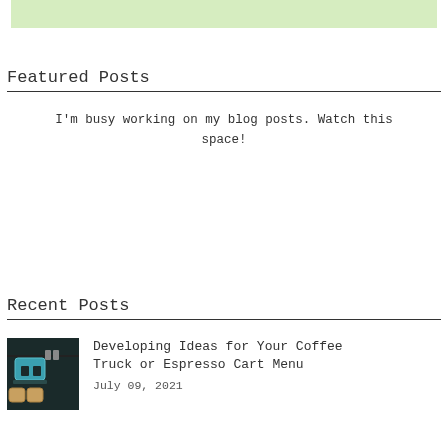[Figure (illustration): Light green banner/hero image area at the top of the page]
Featured Posts
I'm busy working on my blog posts. Watch this space!
Recent Posts
[Figure (photo): Photo of a coffee machine/espresso setup on a dark background with cups]
Developing Ideas for Your Coffee Truck or Espresso Cart Menu
July 09, 2021